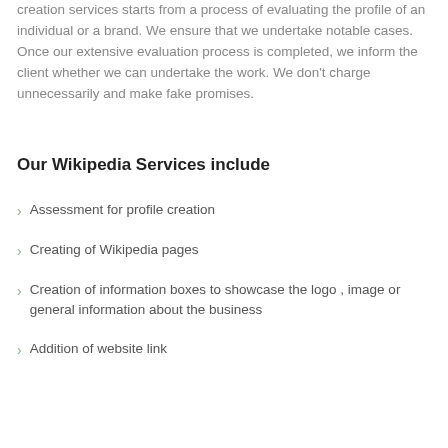creation services starts from a process of evaluating the profile of an individual or a brand. We ensure that we undertake notable cases. Once our extensive evaluation process is completed, we inform the client whether we can undertake the work. We don't charge unnecessarily and make fake promises.
Our Wikipedia Services include
Assessment for profile creation
Creating of Wikipedia pages
Creation of information boxes to showcase the logo , image or general information about the business
Addition of website link